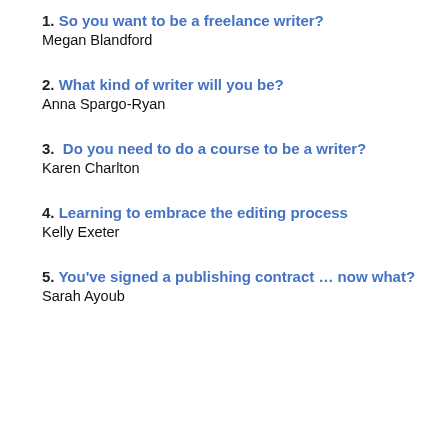1. So you want to be a freelance writer?
Megan Blandford
2. What kind of writer will you be?
Anna Spargo-Ryan
3. Do you need to do a course to be a writer?
Karen Charlton
4. Learning to embrace the editing process
Kelly Exeter
5. You've signed a publishing contract … now what?
Sarah Ayoub